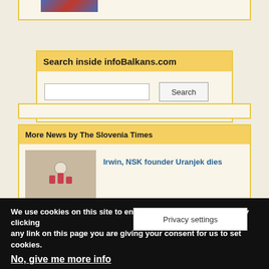[Figure (photo): Partial image of a flag or colored graphic at top of page]
Search inside infoBalkans.com
Search [input field] [Search button]
More News by The Slovenia Times
[Figure (photo): Thumbnail image showing stacked wooden figures with symbols]
Irwin, NSK founder Uranjek dies
[Figure (photo): Dark thumbnail image]
D... Ljubljana Castle
Privacy settings
We use cookies on this site to enhance your user experience By clicking any link on this page you are giving your consent for us to set cookies.
No, give me more info
OK, I agree    No, thanks